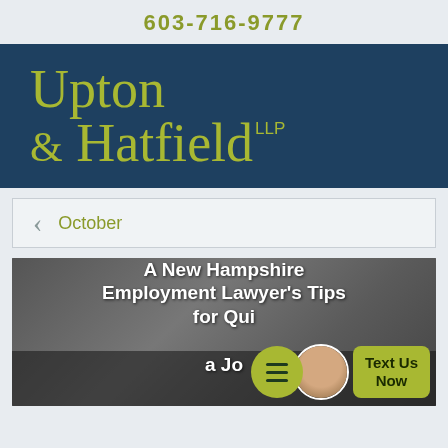603-716-9777
[Figure (logo): Upton & Hatfield LLP law firm logo with olive/yellow-green text on dark navy blue background]
October
[Figure (photo): Gray-toned photo background with article title overlay: A New Hampshire Employment Lawyer's Tips for Quitting a Job. Includes a chat widget with Text Us Now button.]
A New Hampshire Employment Lawyer's Tips for Quitting a Job